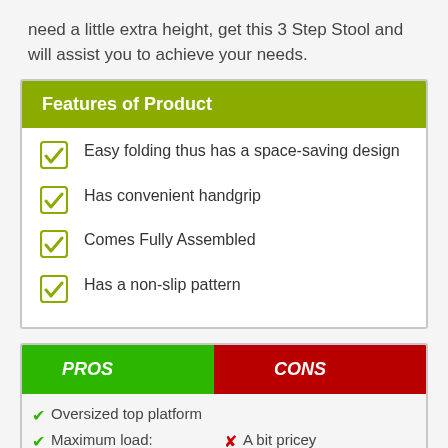need a little extra height, get this 3 Step Stool and will assist you to achieve your needs.
Features of Product
Easy folding thus has a space-saving design
Has convenient handgrip
Comes Fully Assembled
Has a non-slip pattern
| PROS | CONS |
| --- | --- |
| Oversized top platform |  |
| Maximum load: | A bit pricey |
Oversized top platform
Maximum load:
A bit pricey